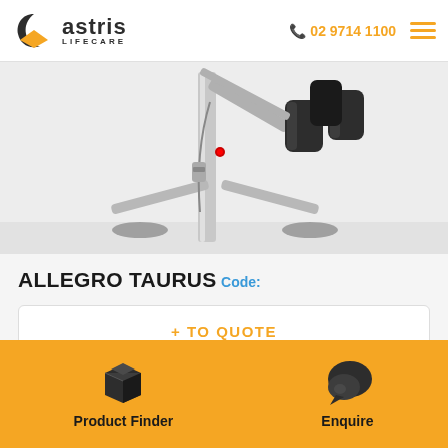Astris Lifecare | 02 9714 1100
[Figure (photo): Close-up photo of the Allegro Taurus patient lift device showing the metal frame, padded supports, and mechanical components against a white background.]
ALLEGRO TAURUS
Code:
+ TO QUOTE
Quick enquiry →
Product Finder | Enquire